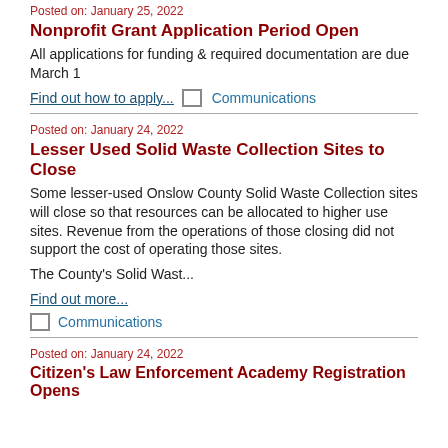Posted on: January 25, 2022
Nonprofit Grant Application Period Open
All applications for funding & required documentation are due March 1
Find out how to apply...   Communications
Posted on: January 24, 2022
Lesser Used Solid Waste Collection Sites to Close
Some lesser-used Onslow County Solid Waste Collection sites will close so that resources can be allocated to higher use sites. Revenue from the operations of those closing did not support the cost of operating those sites.
The County’s Solid Wast...
Find out more...
Communications
Posted on: January 24, 2022
Citizen’s Law Enforcement Academy Registration Opens